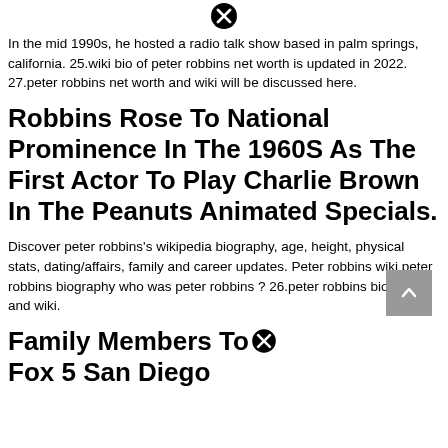[Figure (other): Close/cancel icon (circled X) centered at top]
In the mid 1990s, he hosted a radio talk show based in palm springs, california. 25.wiki bio of peter robbins net worth is updated in 2022. 27.peter robbins net worth and wiki will be discussed here.
Robbins Rose To National Prominence In The 1960S As The First Actor To Play Charlie Brown In The Peanuts Animated Specials.
Discover peter robbins's wikipedia biography, age, height, physical stats, dating/affairs, family and career updates. Peter robbins wiki peter robbins biography who was peter robbins ? 26.peter robbins biography and wiki.
Family Members To Fox 5 San Diego